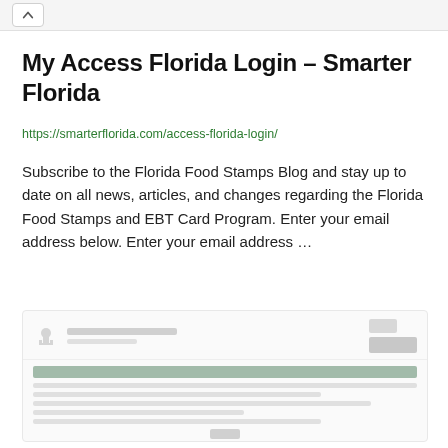My Access Florida Login – Smarter Florida
https://smarterflorida.com/access-florida-login/
Subscribe to the Florida Food Stamps Blog and stay up to date on all news, articles, and changes regarding the Florida Food Stamps and EBT Card Program. Enter your email address below. Enter your email address …
[Figure (screenshot): Screenshot of the My Access Florida login page from the Florida Department of Children and Families website, showing the site header with logo, a navigation banner, and form fields below.]